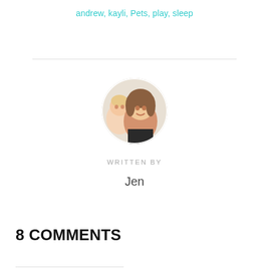andrew, kayli, Pets, play, sleep
[Figure (photo): Circular avatar photo of a woman (Jen) with a baby, smiling]
WRITTEN BY
Jen
8 COMMENTS